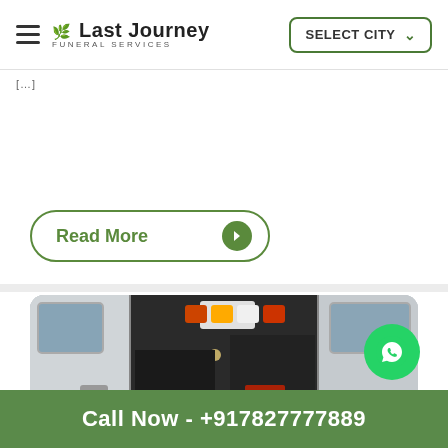Last Journey Funeral Services — SELECT CITY
[...]
Read More
[Figure (photo): Interior view of ambulance rear doors open, showing emergency lights (red, orange, white) and medical equipment inside]
Call Now - +917827777889